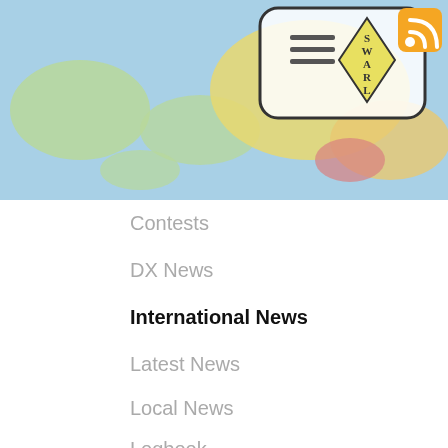[Figure (screenshot): Website header showing a world map background with a SWARL diamond logo and phone UI mockup, plus an RSS icon in the top right corner.]
Contests
DX News
International News
Latest News
Local News
Logbook
Other news
International News